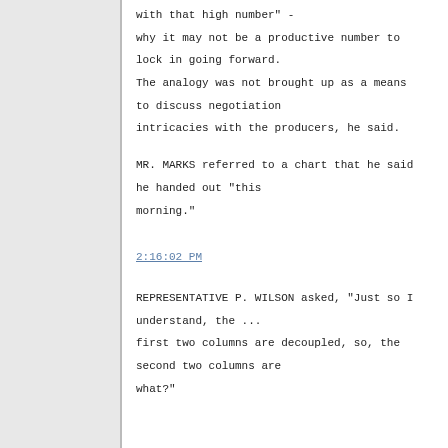with that high number" - why it may not be a productive number to lock in going forward. The analogy was not brought up as a means to discuss negotiation intricacies with the producers, he said.
MR. MARKS referred to a chart that he said he handed out "this morning."
2:16:02 PM
REPRESENTATIVE P. WILSON asked, "Just so I understand, the ... first two columns are decoupled, so, the second two columns are what?"